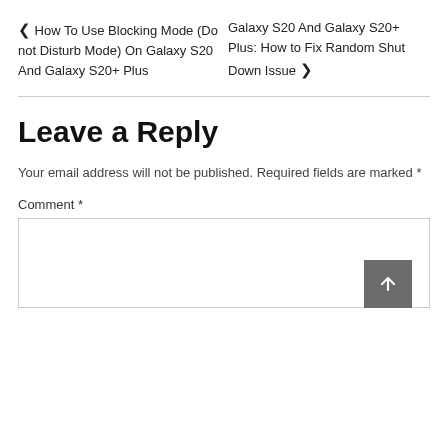❮ How To Use Blocking Mode (Do not Disturb Mode) On Galaxy S20 And Galaxy S20+ Plus
Galaxy S20 And Galaxy S20+ Plus: How to Fix Random Shut Down Issue ❯
Leave a Reply
Your email address will not be published. Required fields are marked *
Comment *